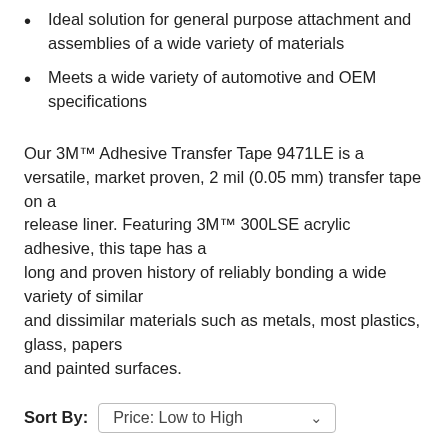Ideal solution for general purpose attachment and assemblies of a wide variety of materials
Meets a wide variety of automotive and OEM specifications
Our 3M™ Adhesive Transfer Tape 9471LE is a versatile, market proven, 2 mil (0.05 mm) transfer tape on a release liner. Featuring 3M™ 300LSE acrylic adhesive, this tape has a long and proven history of reliably bonding a wide variety of similar and dissimilar materials such as metals, most plastics, glass, papers and painted surfaces.
Sort By: Price: Low to High